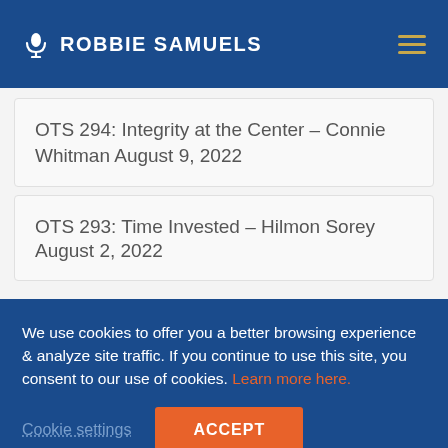🎤 ROBBIE SAMUELS
OTS 294: Integrity at the Center – Connie Whitman August 9, 2022
OTS 293: Time Invested – Hilmon Sorey August 2, 2022
We use cookies to offer you a better browsing experience & analyze site traffic. If you continue to use this site, you consent to our use of cookies. Learn more here.
Cookie settings   ACCEPT